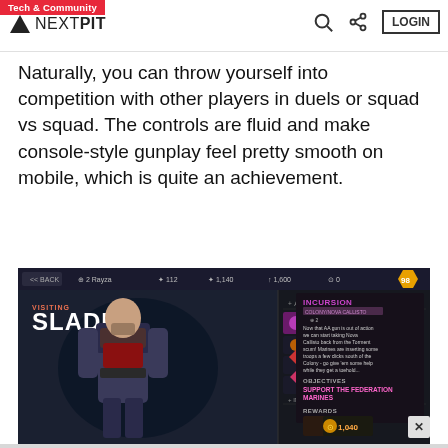Tech & Community | NEXTPIT | LOGIN
Naturally, you can throw yourself into competition with other players in duels or squad vs squad. The controls are fluid and make console-style gunplay feel pretty smooth on mobile, which is quite an achievement.
[Figure (screenshot): Game screenshot showing a character named 'Slade' in a sci-fi shooter game interface with mission list including 'Incursion Side Mission', 'Get to Rank 5', 'Do Business with Big Red', 'Strike a Deal with Willow', and mission details panel showing 'Incursion' objectives and rewards of 1,040.]